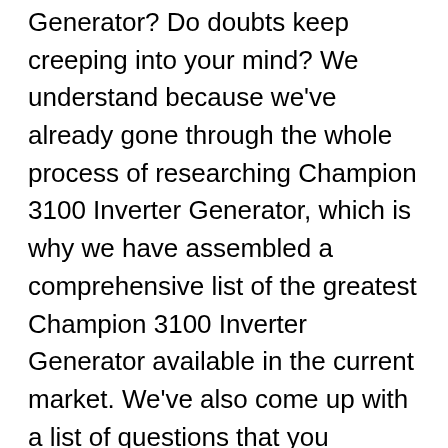Generator? Do doubts keep creeping into your mind? We understand because we've already gone through the whole process of researching Champion 3100 Inverter Generator, which is why we have assembled a comprehensive list of the greatest Champion 3100 Inverter Generator available in the current market. We've also come up with a list of questions that you probably have yourself.
We've done the best we can with our thoughts and recommendations, but it's still crucial that